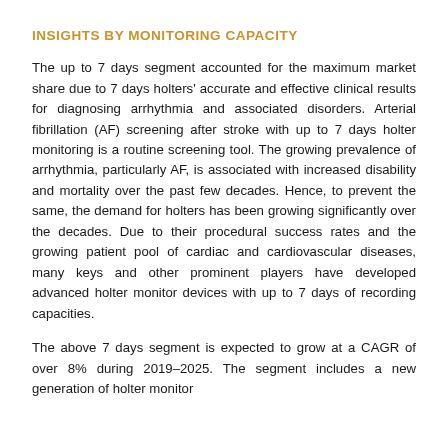INSIGHTS BY MONITORING CAPACITY
The up to 7 days segment accounted for the maximum market share due to 7 days holters' accurate and effective clinical results for diagnosing arrhythmia and associated disorders. Arterial fibrillation (AF) screening after stroke with up to 7 days holter monitoring is a routine screening tool. The growing prevalence of arrhythmia, particularly AF, is associated with increased disability and mortality over the past few decades. Hence, to prevent the same, the demand for holters has been growing significantly over the decades. Due to their procedural success rates and the growing patient pool of cardiac and cardiovascular diseases, many keys and other prominent players have developed advanced holter monitor devices with up to 7 days of recording capacities.
The above 7 days segment is expected to grow at a CAGR of over 8% during 2019–2025. The segment includes a new generation of holter monitor